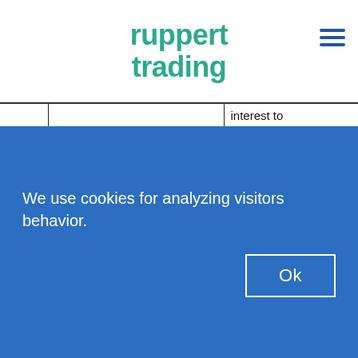ruppert trading
|  | Data | Details |
| --- | --- | --- |
|  |  | interest to individuals meet screening requirements and, where necessary, consent from individual. |
|  | - name;
- contact details (personal);
- personal data in correspondence with the individual | Purpose: process personal data to identify individuals and grant access to premises and |
We use cookies for analyzing visitors behavior.